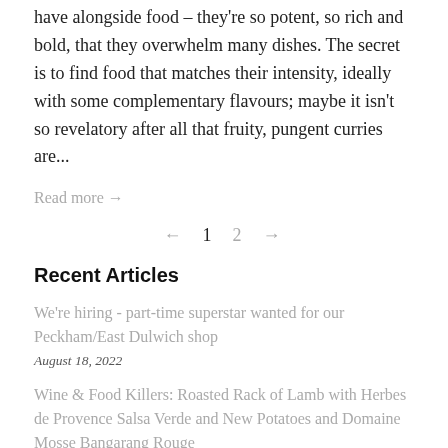have alongside food – they're so potent, so rich and bold, that they overwhelm many dishes. The secret is to find food that matches their intensity, ideally with some complementary flavours; maybe it isn't so revelatory after all that fruity, pungent curries are...
Read more →
← 1 2 →
Recent Articles
We're hiring - part-time superstar wanted for our Peckham/East Dulwich shop
August 18, 2022
Wine & Food Killers: Roasted Rack of Lamb with Herbes de Provence Salsa Verde and New Potatoes and Domaine Mosse Bangarang Rouge